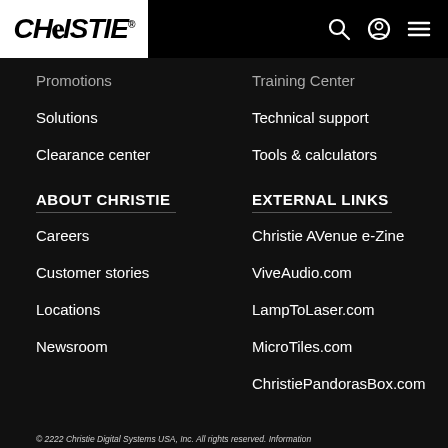[Figure (logo): Christie logo in black italic bold text on white background]
Promotions
Training Center
Solutions
Technical support
Clearance center
Tools & calculators
ABOUT CHRISTIE
EXTERNAL LINKS
Careers
Christie AVenue e-Zine
Customer stories
ViveAudio.com
Locations
LampToLaser.com
Newsroom
MicroTiles.com
ChristiePandorasBox.com
© 2222 Christie Digital Systems USA, Inc. All rights reserved. Information